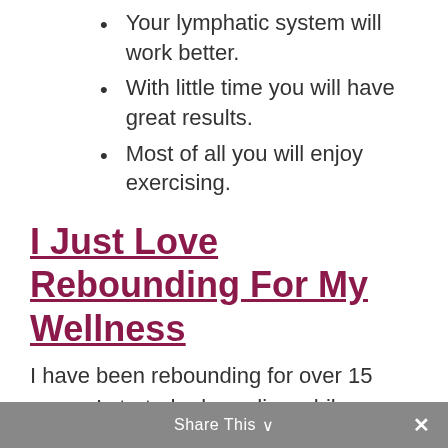Your lymphatic system will work better.
With little time you will have great results.
Most of all you will enjoy exercising.
I Just Love Rebounding For My Wellness
I have been rebounding for over 15 years. I started rebounding while training in Kinesiology. It was a no brainer, when I learnt that it was beneficial for helping reduce lumpy breast tissue and improve lymphatic drainage.
Share This ✓  ×